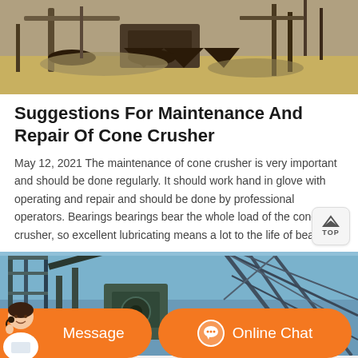[Figure (photo): Outdoor mining/crushing machinery with conveyor belts and stone crusher equipment on sandy ground]
Suggestions For Maintenance And Repair Of Cone Crusher
May 12, 2021 The maintenance of cone crusher is very important and should be done regularly. It should work hand in glove with operating and repair and should be done by professional operators. Bearings bearings bear the whole load of the cone crusher, so excellent lubricating means a lot to the life of bearings.
[Figure (photo): Industrial crushing/screening machinery with structural steel framework against blue sky]
Message
Online Chat